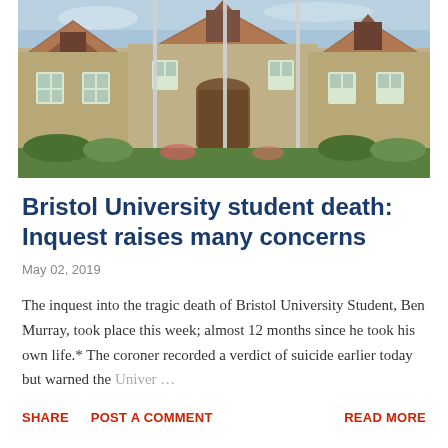[Figure (photo): Photograph of a stone university building (Bristol University) with Gothic architectural features, multiple gabled roofs, white flagpoles in the foreground, and trees/greenery at the base.]
Bristol University student death: Inquest raises many concerns
May 02, 2019
The inquest into the tragic death of Bristol University Student, Ben Murray, took place this week; almost 12 months since he took his own life.* The coroner recorded a verdict of suicide earlier today but warned the Univer …
SHARE   POST A COMMENT   READ MORE